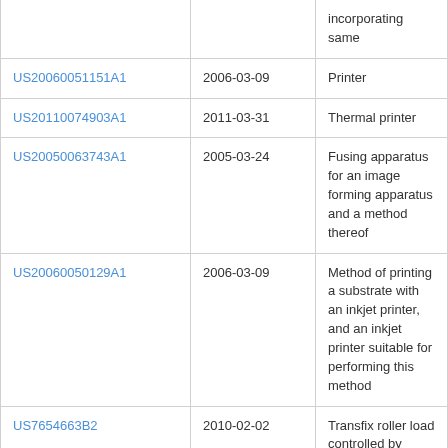| Publication number | Date | Title |
| --- | --- | --- |
|  |  | incorporating same |
| US20060051151A1 | 2006-03-09 | Printer |
| US20110074903A1 | 2011-03-31 | Thermal printer |
| US20050063743A1 | 2005-03-24 | Fusing apparatus for an image forming apparatus and a method thereof |
| US20060050129A1 | 2006-03-09 | Method of printing a substrate with an inkjet printer, and an inkjet printer suitable for performing this method |
| US7654663B2 | 2010-02-02 | Transfix roller load controlled by motor current |
| EP1553466B1 | 2016-03-30 | Image transfer element with leverage |
| US6267369B1 | 2001-07-31 | Torque loading of a sheet material feed roller |